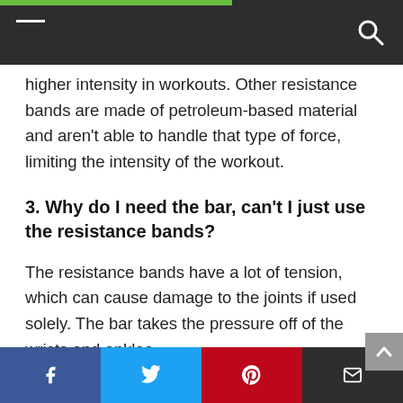higher intensity in workouts. Other resistance bands are made of petroleum-based material and aren't able to handle that type of force, limiting the intensity of the workout.
3. Why do I need the bar, can't I just use the resistance bands?
The resistance bands have a lot of tension, which can cause damage to the joints if used solely. The bar takes the pressure off of the wrists and ankles.
4. What does the Ground Plate do?
Facebook Twitter Pinterest Email